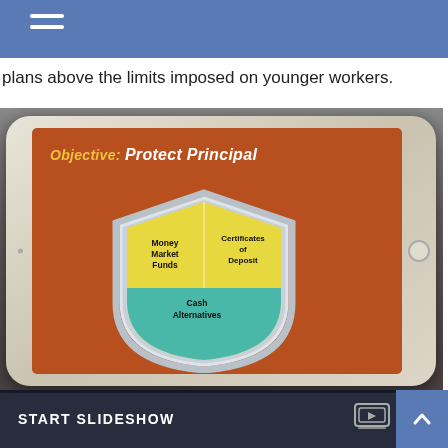plans above the limits imposed on younger workers.
[Figure (photo): A tablet device being held by two hands. On the tablet screen is a presentation slide with an orange/brown background showing the text 'Objective: Protect Principal' in italic yellow and white bold font, and a shield graphic containing three sections labeled 'Money Market Funds', 'Certificates of Deposit', and 'Cash Alternatives'.]
START SLIDESHOW